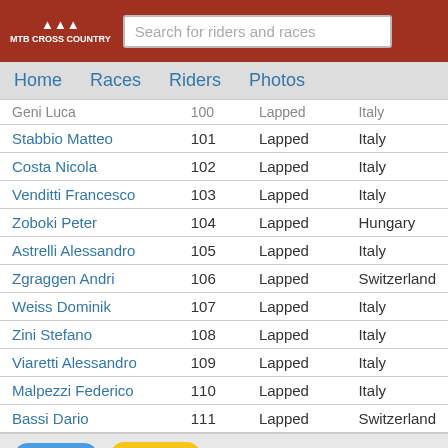MTB CROSS COUNTRY — Search for riders and races
Home   Races   Riders   Photos
| Name | Number | Status | Country |
| --- | --- | --- | --- |
| Geni Luca | 100 | Lapped | Italy |
| Stabbio Matteo | 101 | Lapped | Italy |
| Costa Nicola | 102 | Lapped | Italy |
| Venditti Francesco | 103 | Lapped | Italy |
| Zoboki Peter | 104 | Lapped | Hungary |
| Astrelli Alessandro | 105 | Lapped | Italy |
| Zgraggen Andri | 106 | Lapped | Switzerland |
| Weiss Dominik | 107 | Lapped | Italy |
| Zini Stefano | 108 | Lapped | Italy |
| Viaretti Alessandro | 109 | Lapped | Italy |
| Malpezzi Federico | 110 | Lapped | Italy |
| Bassi Dario | 111 | Lapped | Switzerland |
Follow  Donate  Support us  About  Contact  Use of photos